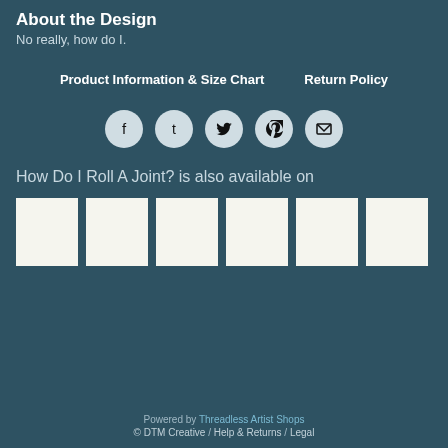About the Design
No really, how do I.
Product Information & Size Chart   Return Policy
[Figure (infographic): Row of five social media share icons (Facebook, Tumblr, Twitter, Pinterest, Email) as circular buttons with dark symbols on light grey circles]
How Do I Roll A Joint? is also available on
[Figure (infographic): Row of six white/off-white product thumbnail image placeholders]
Powered by Threadless Artist Shops
© DTM Creative  /  Help & Returns  /  Legal